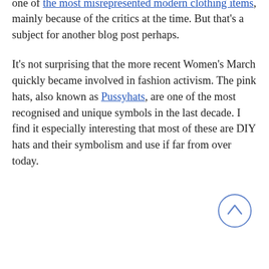a subject of politics and discussions about norms and deviance. Take for instance corsets. Corsets became one of the most misrepresented modern clothing items, mainly because of the critics at the time. But that's a subject for another blog post perhaps.
It's not surprising that the more recent Women's March quickly became involved in fashion activism. The pink hats, also known as Pussyhats, are one of the most recognised and unique symbols in the last decade. I find it especially interesting that most of these are DIY hats and their symbolism and use if far from over today.